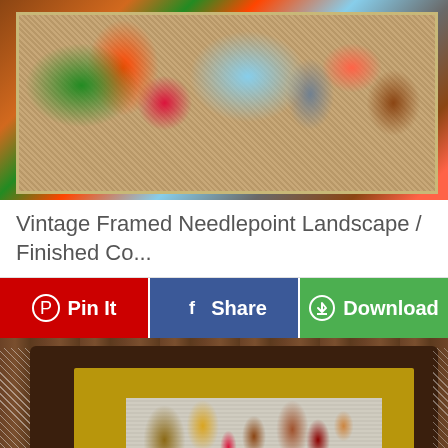[Figure (photo): Vintage framed needlepoint landscape showing colorful floral and bird motifs with orange, red, green, and blue colors in a gold frame]
Vintage Framed Needlepoint Landscape / Finished Co...
[Figure (infographic): Three social sharing buttons: red Pinterest Pin It button, blue Facebook Share button, and green Download button]
[Figure (photo): Close-up photo of a dark brown wooden framed needlepoint with gold inner frame, showing an incomplete or abstract needlepoint design on gray mesh canvas with autumn-colored threads, placed on a lace cloth on a wooden table]